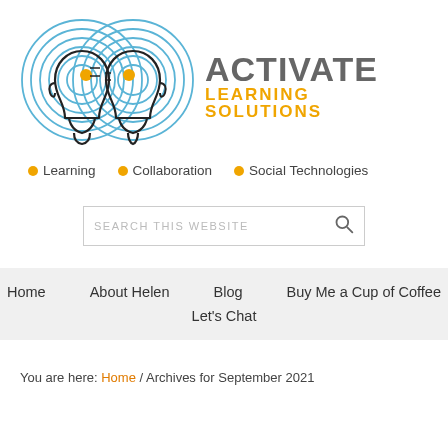[Figure (logo): Activate Learning Solutions logo with two human head silhouettes surrounded by concentric circles (brain wave rings), alongside bold text 'ACTIVATE LEARNING SOLUTIONS' in grey and orange]
• Learning  • Collaboration  • Social Technologies
SEARCH THIS WEBSITE
Home   About Helen   Blog   Buy Me a Cup of Coffee   Let's Chat
You are here: Home / Archives for September 2021